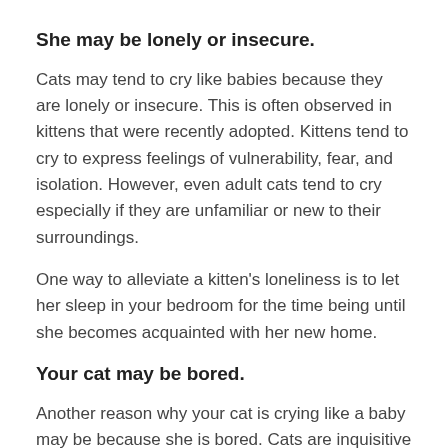She may be lonely or insecure.
Cats may tend to cry like babies because they are lonely or insecure. This is often observed in kittens that were recently adopted. Kittens tend to cry to express feelings of vulnerability, fear, and isolation. However, even adult cats tend to cry especially if they are unfamiliar or new to their surroundings.
One way to alleviate a kitten's loneliness is to let her sleep in your bedroom for the time being until she becomes acquainted with her new home.
Your cat may be bored.
Another reason why your cat is crying like a baby may be because she is bored. Cats are inquisitive and frisky, they love to play and run around. So, when they are left behind at home especially with no other companions they tend to get bored. Check out